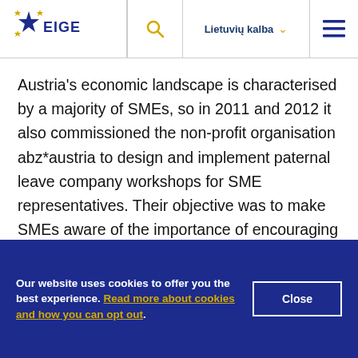EIGE | Lietuvių kalba
Austria's economic landscape is characterised by a majority of SMEs, so in 2011 and 2012 it also commissioned the non-profit organisation abz*austria to design and implement paternal leave company workshops for SME representatives. Their objective was to make SMEs aware of the importance of encouraging men to take up paternal leave, which would also support the careers of working mothers. The aim
Our website uses cookies to offer you the best experience. Read more about cookies and how you can opt out.